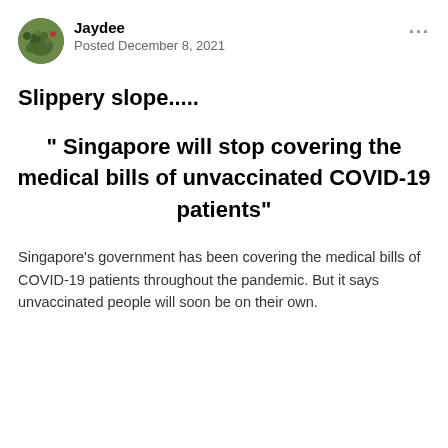Jaydee
Posted December 8, 2021
Slippery slope.....
“ Singapore will stop covering the medical bills of unvaccinated COVID-19 patients”
Singapore's government has been covering the medical bills of COVID-19 patients throughout the pandemic. But it says unvaccinated people will soon be on their own.